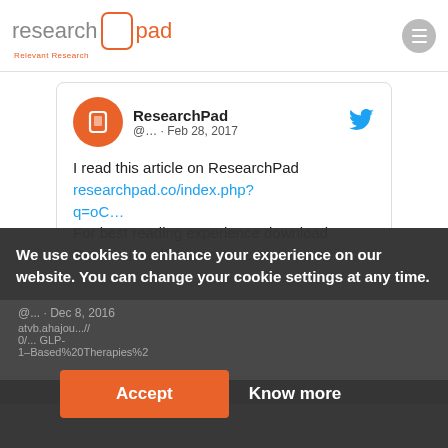[Figure (logo): ResearchPad logo with orange outline box and tagline 'Relevant Research']
[Figure (screenshot): Tweet from ResearchPad (@...) dated Feb 28, 2017: 'I read this article on ResearchPad researchpad.co/index.php?q=oC… For best reading experience download ResearchPad from researchpad.co' with Twitter bird icon and orange avatar.]
We use cookies to enhance your experience on our website. You can change your cookie settings at any time.
Accept
Know more